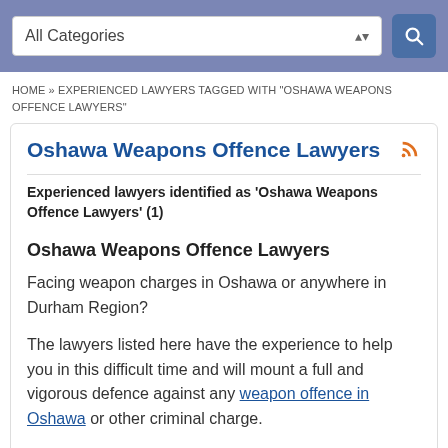[Figure (screenshot): Search bar with 'All Categories' dropdown and blue search button]
HOME » EXPERIENCED LAWYERS TAGGED WITH "OSHAWA WEAPONS OFFENCE LAWYERS"
Oshawa Weapons Offence Lawyers
Experienced lawyers identified as 'Oshawa Weapons Offence Lawyers' (1)
Oshawa Weapons Offence Lawyers
Facing weapon charges in Oshawa or anywhere in Durham Region?
The lawyers listed here have the experience to help you in this difficult time and will mount a full and vigorous defence against any weapon offence in Oshawa or other criminal charge.